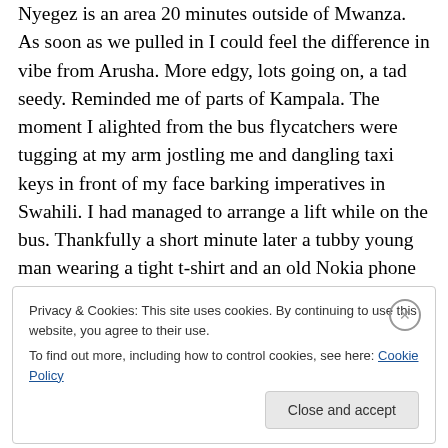Nyegez is an area 20 minutes outside of Mwanza. As soon as we pulled in I could feel the difference in vibe from Arusha. More edgy, lots going on, a tad seedy. Reminded me of parts of Kampala. The moment I alighted from the bus flycatchers were tugging at my arm jostling me and dangling taxi keys in front of my face barking imperatives in Swahili. I had managed to arrange a lift while on the bus. Thankfully a short minute later a tubby young man wearing a tight t-shirt and an old Nokia phone from the 90s clamped to his ear appeared. He bounced into a jog, seeing me looking lost and weary and outstretched his
Privacy & Cookies: This site uses cookies. By continuing to use this website, you agree to their use.
To find out more, including how to control cookies, see here: Cookie Policy